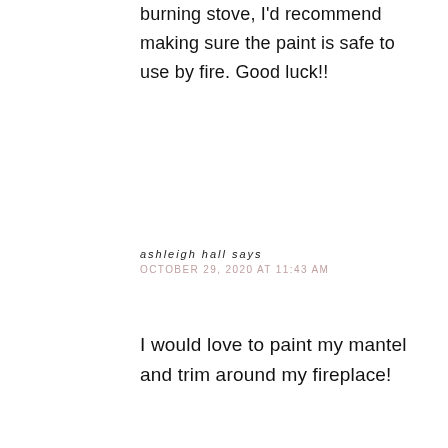burning stove, I'd recommend making sure the paint is safe to use by fire. Good luck!!
ashleigh hall says
OCTOBER 29, 2020 AT 11:43 AM
I would love to paint my mantel and trim around my fireplace!